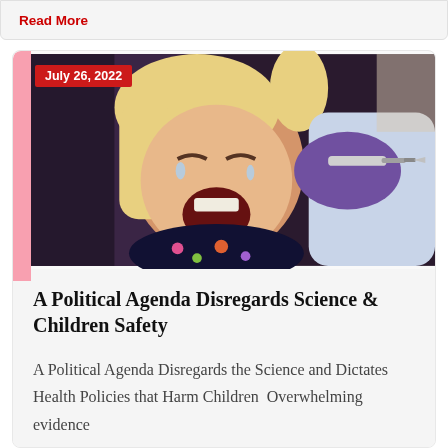Read More
[Figure (photo): Young blonde girl crying while receiving a vaccination injection, held by an adult, with a healthcare worker in purple gloves administering the shot]
July 26, 2022
A Political Agenda Disregards Science & Children Safety
A Political Agenda Disregards the Science and Dictates Health Policies that Harm Children  Overwhelming evidence